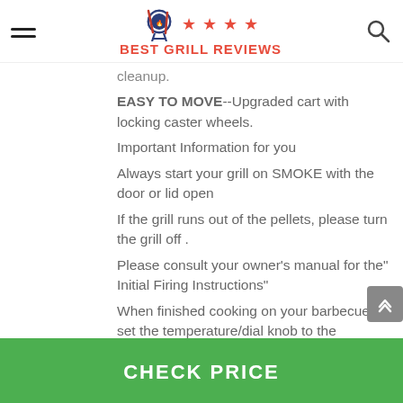Best Grill Reviews
cleanup.
EASY TO MOVE--Upgraded cart with locking caster wheels.
Important Information for you
Always start your grill on SMOKE with the door or lid open
If the grill runs out of the pellets, please turn the grill off .
Please consult your owner's manual for the" Initial Firing Instructions"
When finished cooking on your barbecue set the temperature/dial knob to the Shutdown Cycle position, this will leave the draft Induction fan running for 10 minutes to burn any excess pellets in the fire pot. after the fan runs for 10 minutes the controller will power off and the fan will stop running.
CHECK PRICE